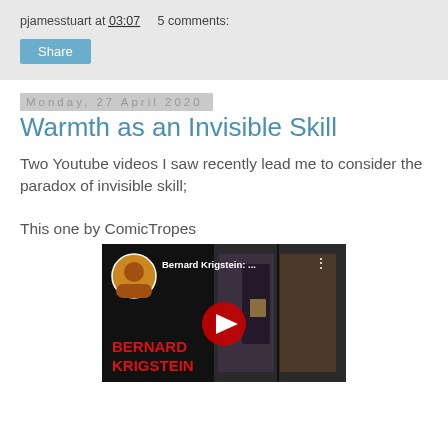pjamesstuart at 03:07    5 comments:
Share
Monday, 27 April 2020
Warmth as an Invisible Skill
Two Youtube videos I saw recently lead me to consider the paradox of invisible skill;
This one by ComicTropes
[Figure (screenshot): YouTube video thumbnail for 'Bernard Krigstein: ...' by ComicTropes, showing comic book art panels with a play button overlay and 'BERNARD KRIGSTEIN' text in red.]